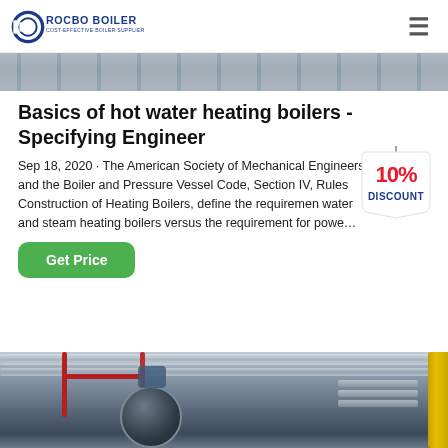ROCBO BOILER — COST-EFFECTIVE BOILER SUPPLIER
[Figure (photo): Top portion of an industrial boiler or HVAC equipment, showing metallic grating/panels]
Basics of hot water heating boilers - Specifying Engineer
Sep 18, 2020 · The American Society of Mechanical Engineers and the Boiler and Pressure Vessel Code, Section IV, Rules Construction of Heating Boilers, define the requiremen water and steam heating boilers versus the requirement for powe…
[Figure (illustration): 10% DISCOUNT badge/tag graphic]
Get Price
[Figure (photo): Industrial boiler room interior showing pipes, a large boiler vessel, red and yellow pipework, and industrial ceiling]